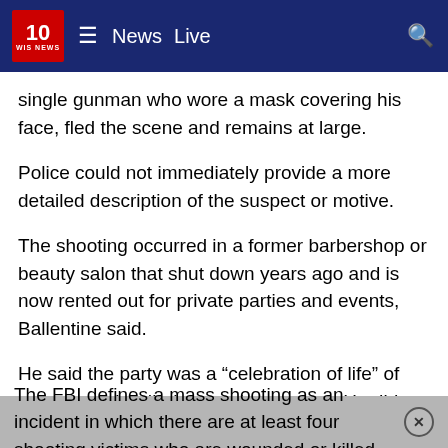10 WIS NEWS | News  Live
single gunman who wore a mask covering his face, fled the scene and remains at large.
Police could not immediately provide a more detailed description of the suspect or motive.
The shooting occurred in a former barbershop or beauty salon that shut down years ago and is now rented out for private parties and events, Ballentine said.
He said the party was a “celebration of life” of someone who died several years ago. He did not have the person’s name or cause of death.
The FBI defines a mass shooting as an incident in which there are at least four shooting victims who are wounded or killed.